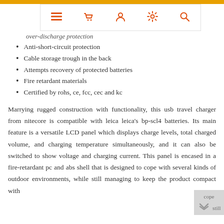Navigation bar with menu, basket, account, settings, search icons
Anti-short-circuit protection
Cable storage trough in the back
Attempts recovery of protected batteries
Fire retardant materials
Certified by rohs, ce, fcc, cec and kc
Marrying rugged construction with functionality, this usb travel charger from nitecore is compatible with leica leica's bp-scl4 batteries. Its main feature is a versatile LCD panel which displays charge levels, total charged volume, and charging temperature simultaneously, and it can also be switched to show voltage and charging current. This panel is encased in a fire-retardant pc and abs shell that is designed to cope with several kinds of outdoor environments, while still managing to keep the product compact with...